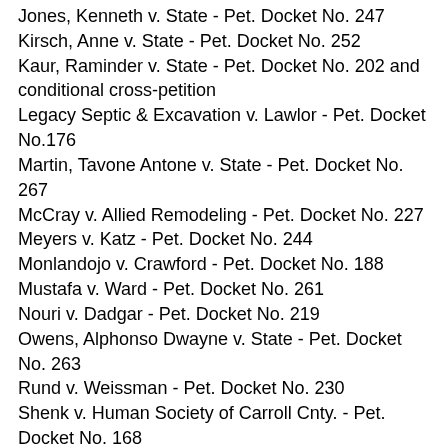Jones, Kenneth v. State - Pet. Docket No. 247
Kirsch, Anne v. State - Pet. Docket No. 252
Kaur, Raminder v. State - Pet. Docket No. 202 and conditional cross-petition
Legacy Septic & Excavation v. Lawlor - Pet. Docket No.176
Martin, Tavone Antone v. State - Pet. Docket No. 267
McCray v. Allied Remodeling - Pet. Docket No. 227
Meyers v. Katz - Pet. Docket No. 244
Monlandojo v. Crawford - Pet. Docket No. 188
Mustafa v. Ward - Pet. Docket No. 261
Nouri v. Dadgar - Pet. Docket No. 219
Owens, Alphonso Dwayne v. State - Pet. Docket No. 263
Rund v. Weissman - Pet. Docket No. 230
Shenk v. Human Society of Carroll Cnty. - Pet. Docket No. 168